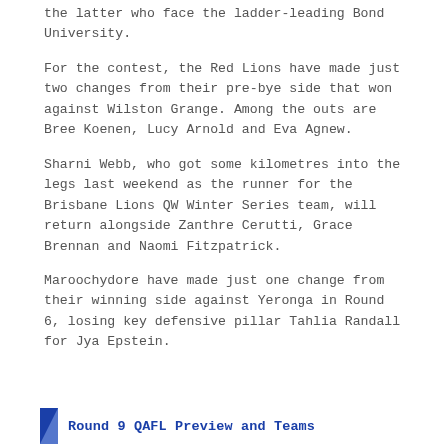the latter who face the ladder-leading Bond University.
For the contest, the Red Lions have made just two changes from their pre-bye side that won against Wilston Grange. Among the outs are Bree Koenen, Lucy Arnold and Eva Agnew.
Sharni Webb, who got some kilometres into the legs last weekend as the runner for the Brisbane Lions QW Winter Series team, will return alongside Zanthre Cerutti, Grace Brennan and Naomi Fitzpatrick.
Maroochydore have made just one change from their winning side against Yeronga in Round 6, losing key defensive pillar Tahlia Randall for Jya Epstein.
Round 9 QAFL Preview and Teams